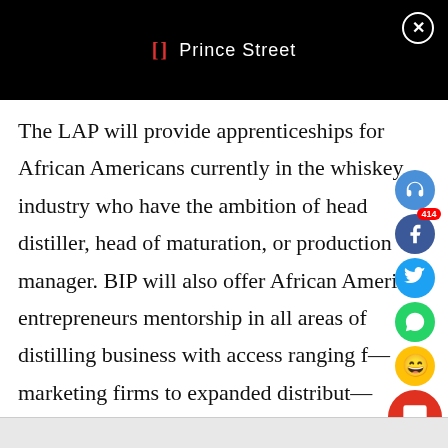Prince Street
The LAP will provide apprenticeships for African Americans currently in the whiskey industry who have the ambition of head distiller, head of maturation, or production manager. BIP will also offer African American entrepreneurs mentorship in all areas of distilling business with access ranging from marketing firms to expanded distribut...